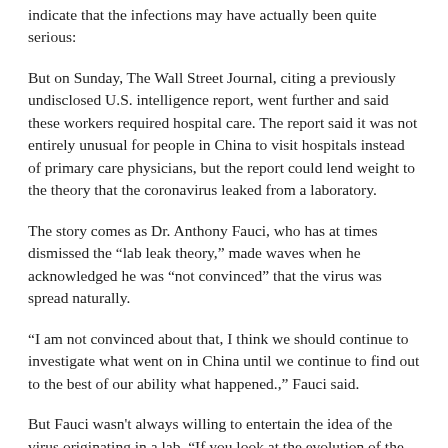indicate that the infections may have actually been quite serious:
But on Sunday, The Wall Street Journal, citing a previously undisclosed U.S. intelligence report, went further and said these workers required hospital care. The report said it was not entirely unusual for people in China to visit hospitals instead of primary care physicians, but the report could lend weight to the theory that the coronavirus leaked from a laboratory.
The story comes as Dr. Anthony Fauci, who has at times dismissed the “lab leak theory,” made waves when he acknowledged he was “not convinced” that the virus was spread naturally.
“I am not convinced about that, I think we should continue to investigate what went on in China until we continue to find out to the best of our ability what happened.,” Fauci said.
But Fauci wasn't always willing to entertain the idea of the virus originating in a lab. “If you look at the evolution of the virus in bats and what’s out there now, [the scientific evidence] is very, very strongly leaning toward this could not have been artificially or deliberately manipulated. … Everything about the stepwise evolution over time strongly indicates that [this virus] evolved in nature and then jumped species,” Fauci said in May 2020.